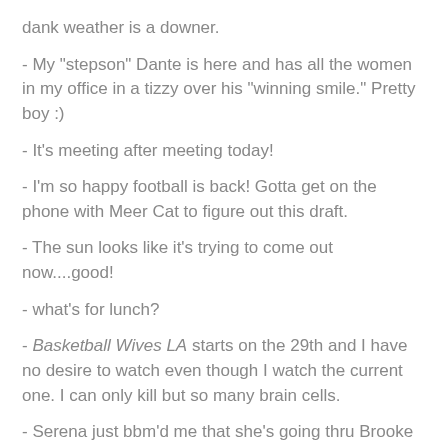dank weather is a downer.
- My "stepson" Dante is here and has all the women in my office in a tizzy over his "winning smile." Pretty boy :)
- It's meeting after meeting today!
- I'm so happy football is back! Gotta get on the phone with Meer Cat to figure out this draft.
- The sun looks like it's trying to come out now....good!
- what's for lunch?
- Basketball Wives LA starts on the 29th and I have no desire to watch even though I watch the current one. I can only kill but so many brain cells.
- Serena just bbm'd me that she's going thru Brooke Blog withdrawal....awww! It's coming!
- Why am I watching the Jamie Foxx Show on BET? Shows